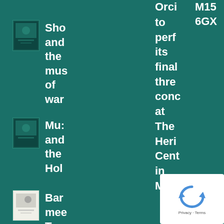Orci M15 6GX
Sho and the mus of war
to perf its final thre conc at The Heri Cent in Mac
Mu: and the Hol
Bar mee Tan
Stal mat dok
Wir